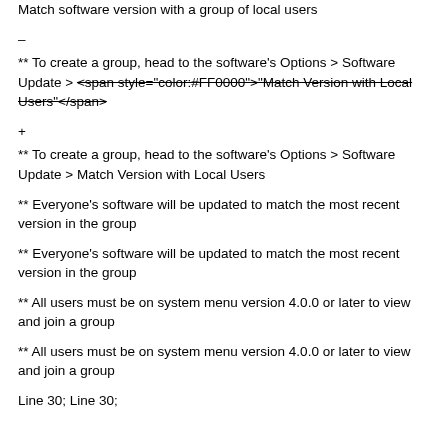Match software version with a group of local users
–
** To create a group, head to the software's Options > Software Update > <span style="color:#FF0000">"Match Version with Local Users"</span>
+
** To create a group, head to the software's Options > Software Update > Match Version with Local Users
** Everyone's software will be updated to match the most recent version in the group
** Everyone's software will be updated to match the most recent version in the group
** All users must be on system menu version 4.0.0 or later to view and join a group
** All users must be on system menu version 4.0.0 or later to view and join a group
Line 30; Line 30;